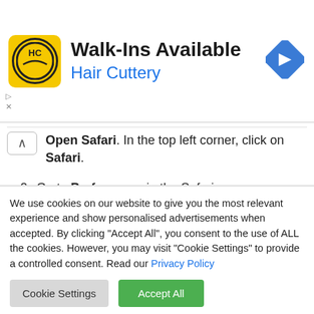[Figure (other): Hair Cuttery advertisement banner with yellow logo (HC initials in circle), text 'Walk-Ins Available' and 'Hair Cuttery' in blue, and a blue diamond-shaped navigation arrow icon on the right]
Open Safari. In the top left corner, click on Safari.
Go to Preferences in the Safari menu, now open the Websites tab.
In the left menu click on Notifications
Find the Tobaitsie.com domain and select it, click the Deny button.
We use cookies on our website to give you the most relevant experience and show personalised advertisements when accepted. By clicking “Accept All”, you consent to the use of ALL the cookies. However, you may visit “Cookie Settings” to provide a controlled consent. Read our Privacy Policy